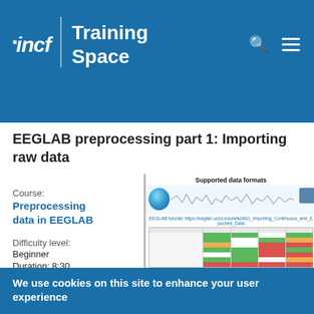incf | Training Space
EEGLAB preprocessing part 1: Importing raw data
Course:
Preprocessing data in EEGLAB
Difficulty level: Beginner
Duration: 8:30
[Figure (screenshot): Screenshot showing 'Supported data formats' table with colored cells (green, yellow, red) and an EEG waveform with a brain topography image]
We use cookies on this site to enhance your user experience
By clicking any link or button on the website the visitor accepts the cookie policy. More info
Accept
No, thanks